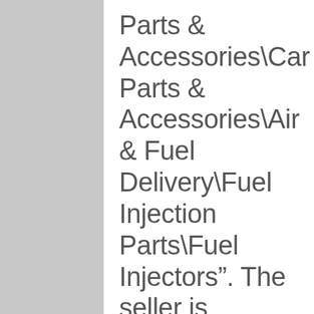Parts & Accessories\Car Parts & Accessories\Air & Fuel Delivery\Fuel Injection Parts\Fuel Injectors". The seller is “injectionspecialist2019 and is located in this country: GB. This item can be